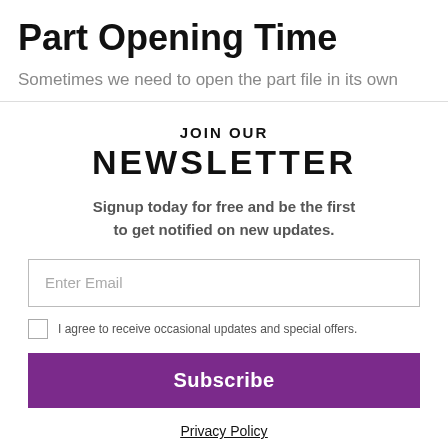Part Opening Time
Sometimes we need to open the part file in its own
JOIN OUR
NEWSLETTER
Signup today for free and be the first to get notified on new updates.
Enter Email
I agree to receive occasional updates and special offers.
Subscribe
Privacy Policy
No thanks